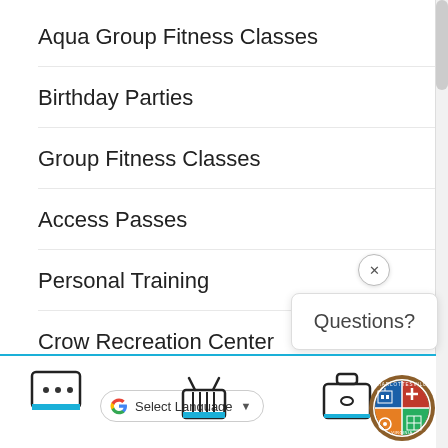Aqua Group Fitness Classes
Birthday Parties
Group Fitness Classes
Access Passes
Personal Training
Crow Recreation Center
[Figure (screenshot): Questions? chat popup with close X button]
[Figure (screenshot): Bottom navigation bar with Google Translate widget, shopping basket icon, briefcase icon, chat bubble icon, and City of Charlottesville seal]